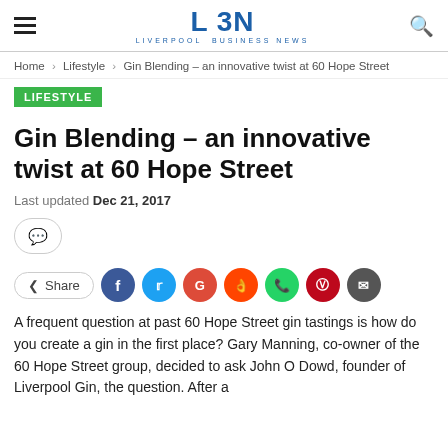LBN Liverpool Business News
Home > Lifestyle > Gin Blending – an innovative twist at 60 Hope Street
LIFESTYLE
Gin Blending – an innovative twist at 60 Hope Street
Last updated Dec 21, 2017
A frequent question at past 60 Hope Street gin tastings is how do you create a gin in the first place? Gary Manning, co-owner of the 60 Hope Street group, decided to ask John O Dowd, founder of Liverpool Gin, the question. After a